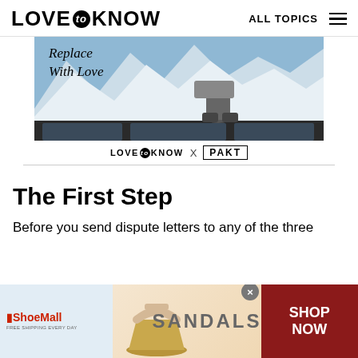LOVE to KNOW   ALL TOPICS ☰
[Figure (photo): Advertisement photo showing a person sitting on top of a car roof with snowy mountains in the background, with italic text overlay reading 'Replace With Love'. Below the photo is the LoveToKnow x PAKT brand line.]
The First Step
Before you send dispute letters to any of the three
[Figure (illustration): ShoeMall advertisement banner showing a cork wedge sandal on a light blue and yellow background with the text SANDALS and SHOP NOW button on a dark red background.]